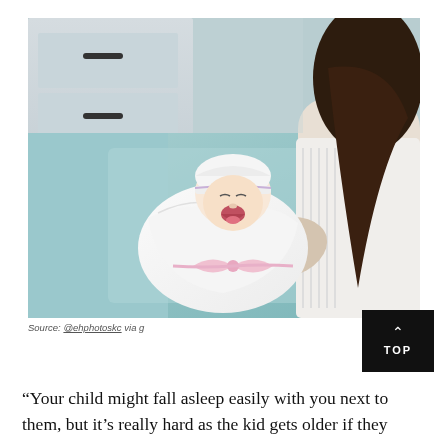[Figure (photo): A newborn baby swaddled in a white blanket with a light pink bow, wearing a white knit hat, yawning or crying, being held by a woman with long brown hair wearing a white textured top, resting on a teal/grey upholstered couch. A white dresser with black handles is visible in the background.]
Source: @ehphotoskc via g
“Your child might fall asleep easily with you next to them, but it’s really hard as the kid gets older if they